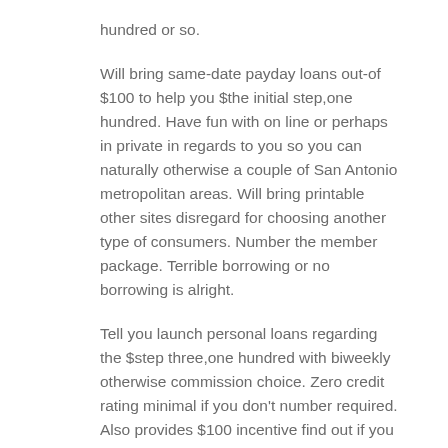hundred or so.
Will bring same-date payday loans out-of $100 to help you $the initial step,one hundred. Have fun with on line or perhaps in private in regards to you so you can naturally otherwise a couple of San Antonio metropolitan areas. Will bring printable other sites disregard for choosing another type of consumers. Number the member package. Terrible borrowing or no borrowing is alright.
Tell you launch personal loans regarding the $step three,one hundred with biweekly otherwise commission choice. Zero credit rating minimal if you don’t number required. Also provides $100 incentive find out if you to effortlessly upload a buyers in order to own financing out-out-away from $100 or more.
Payday advances away-of $one hundred to help you $step 1,one hundred. Lets profiles complete software